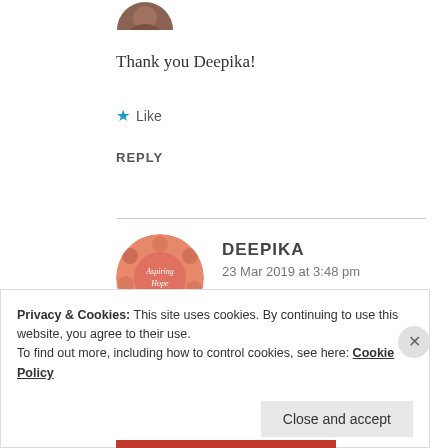[Figure (photo): Cropped circular avatar image at the top, partially visible]
Thank you Deepika!
★ Like
REPLY
[Figure (photo): Circular avatar for commenter Deepika showing 'Aspiring Hope' text on floral background]
DEEPIKA
23 Mar 2019 at 3:48 pm
Privacy & Cookies: This site uses cookies. By continuing to use this website, you agree to their use.
To find out more, including how to control cookies, see here: Cookie Policy
Close and accept